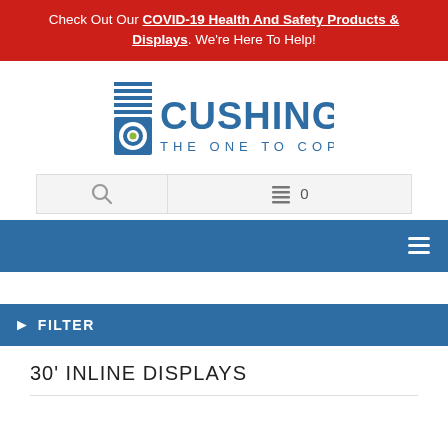Check Out Our COVID-19 Health And Safety Products & Displays. We're Here To Help!
[Figure (logo): Cushing logo with horizontal lines icon, text 'CUSHING' and tagline 'THE ONE TO COPY']
FILTER
30' INLINE DISPLAYS